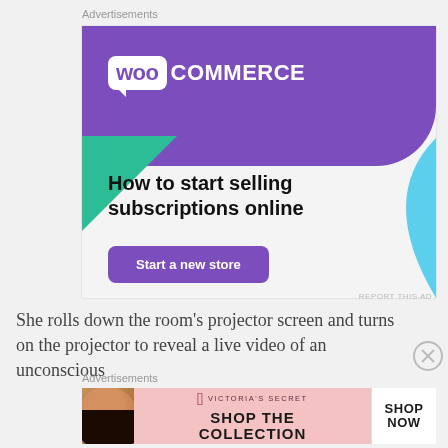Advertisements
[Figure (screenshot): WooCommerce advertisement banner with purple header showing WooCommerce logo, green triangle decoration, blue curved shape, headline 'How to start selling subscriptions online', and a purple 'Start a new store' button]
She rolls down the room's projector screen and turns on the projector to reveal a live video of an unconscious
Advertisements
[Figure (screenshot): Victoria's Secret advertisement with model photo on left, VS logo and 'SHOP THE COLLECTION' text in center, and white 'SHOP NOW' button on right]